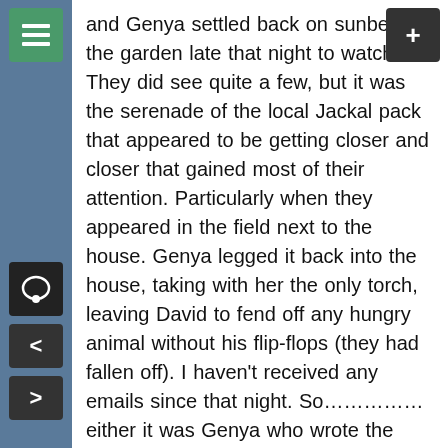and Genya settled back on sunbeds in the garden late that night to watch. They did see quite a few, but it was the serenade of the local Jackal pack that appeared to be getting closer and closer that gained most of their attention. Particularly when they appeared in the field next to the house. Genya legged it back into the house, taking with her the only torch, leaving David to fend off any hungry animal without his flip-flops (they had fallen off). I haven't received any emails since that night. So…………… either it was Genya who wrote the email and David has been gobbled up, or David wrote the email and Genya has been shoved down the well.
I can't say that all the Newarks are well because one is not. Charlotte has got 'Swine Flu' and is pretty poorly. They were coming down tonight to